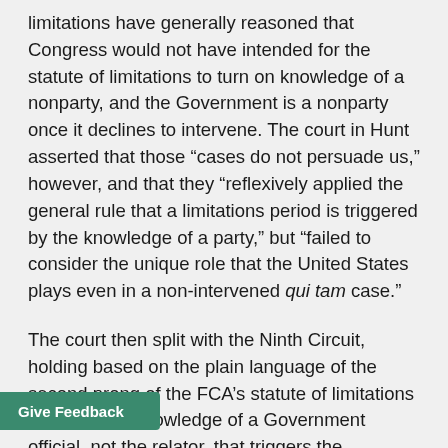limitations have generally reasoned that Congress would not have intended for the statute of limitations to turn on knowledge of a nonparty, and the Government is a nonparty once it declines to intervene. The court in Hunt asserted that those “cases do not persuade us,” however, and that they “reflexively applied the general rule that a limitations period is triggered by the knowledge of a party,” but “failed to consider the unique role that the United States plays even in a non-intervened qui tam case.”
The court then split with the Ninth Circuit, holding based on the plain language of the second prong of the FCA’s statute of limitations that “it is the knowledge of a Government official, not the relator, that triggers the limitations period.” This issue, too, has historically divided those courts that allow the relator to benefit from the FCA’s tolling provision. Compare Hyatt, 91 F.3d [ding that the tolling period begins when the